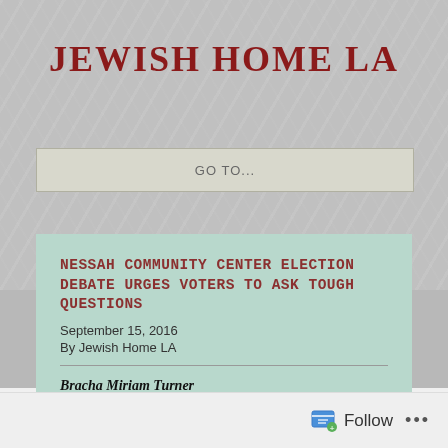JEWISH HOME LA
GO TO...
NESSAH COMMUNITY CENTER ELECTION DEBATE URGES VOTERS TO ASK TOUGH QUESTIONS
September 15, 2016
By Jewish Home LA
Bracha Miriam Turner
Follow ...